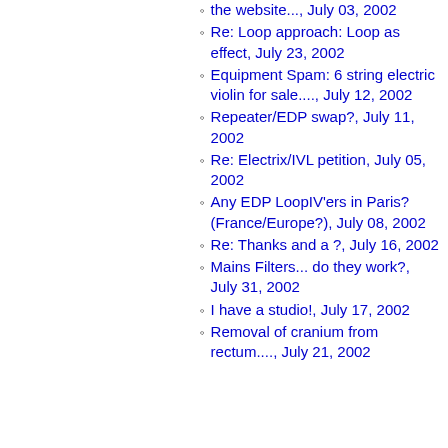the website..., July 03, 2002
Re: Loop approach: Loop as effect, July 23, 2002
Equipment Spam: 6 string electric violin for sale...., July 12, 2002
Repeater/EDP swap?, July 11, 2002
Re: Electrix/IVL petition, July 05, 2002
Any EDP LoopIV'ers in Paris? (France/Europe?), July 08, 2002
Re: Thanks and a ?, July 16, 2002
Mains Filters... do they work?, July 31, 2002
I have a studio!, July 17, 2002
Removal of cranium from rectum...., July 21, 2002